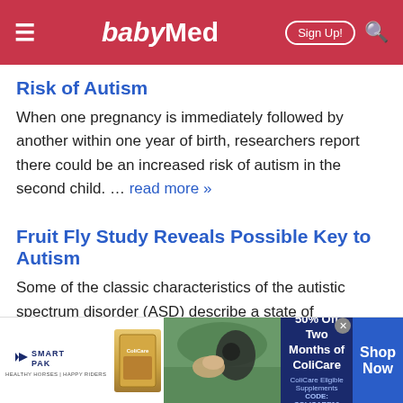babyMed
Risk of Autism
When one pregnancy is immediately followed by another within one year of birth, researchers report there could be an increased risk of autism in the second child. … read more »
Fruit Fly Study Reveals Possible Key to Autism
Some of the classic characteristics of the autistic spectrum disorder (ASD) describe a state of
[Figure (screenshot): SmartPak advertisement banner: 50% Off Two Months of ColiCare, ColiCare Eligible Supplements, CODE: COLICARE10, Shop Now button]